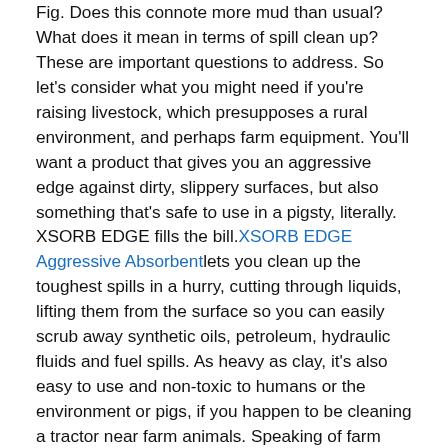Fig. Does this connote more mud than usual? What does it mean in terms of spill clean up? These are important questions to address. So let's consider what you might need if you're raising livestock, which presupposes a rural environment, and perhaps farm equipment. You'll want a product that gives you an aggressive edge against dirty, slippery surfaces, but also something that's safe to use in a pigsty, literally. XSORB EDGE fills the bill. XSORB EDGE Aggressive Absorbent lets you clean up the toughest spills in a hurry, cutting through liquids, lifting them from the surface so you can easily scrub away synthetic oils, petroleum, hydraulic fluids and fuel spills. As heavy as clay, it's also easy to use and non-toxic to humans or the environment or pigs, if you happen to be cleaning a tractor near farm animals. Speaking of farm equipment, our ColdForm Universal Vehicle Spill Kit is the perfect spill clean up product to keep on hand in your truck or tractor. It complies with current BMP regulations that protect our environment, and is handily stored in a nylon bag with handles. Each kit will easily absorb up to eight gallons, and it fits conveniently under or behind a seat. So to avoid the unpleasant pigment of a spill that gets out of hand, plan now for smart spill containment and spill clean up in